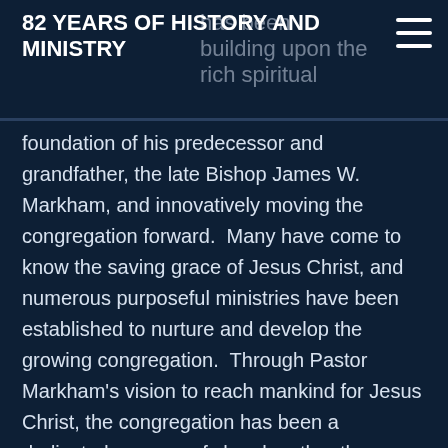82 YEARS OF HISTORY AND MINISTRY
foundation of his predecessor and grandfather, the late Bishop James W. Markham, and innovatively moving the congregation forward.  Many have come to know the saving grace of Jesus Christ, and numerous purposeful ministries have been established to nurture and develop the growing congregation.  Through Pastor Markham's vision to reach mankind for Jesus Christ, the congregation has been a dedicated sponsor of churches thru the Department Of Missions of the Church of God in Christ in...